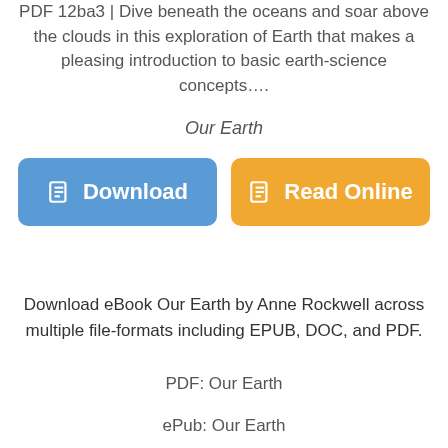PDF 12ba3 | Dive beneath the oceans and soar above the clouds in this exploration of Earth that makes a pleasing introduction to basic earth-science concepts....
Our Earth
Download
Read Online
Download eBook Our Earth by Anne Rockwell across multiple file-formats including EPUB, DOC, and PDF.
PDF: Our Earth
ePub: Our Earth